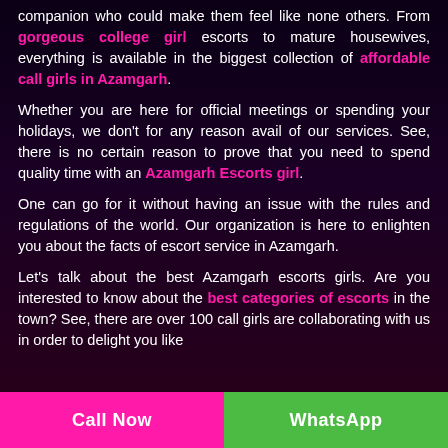companion who could make them feel like none others. From gorgeous college girl escorts to mature housewives, everything is available in the biggest collection of affordable call girls in Azamgarh.
Whether you are here for official meetings or spending your holidays, we don't for any reason avail of our services. See, there is no certain reason to prove that you need to spend quality time with an Azamgarh Escorts girl.
One can go for it without having an issue with the rules and regulations of the world. Our organization is here to enlighten you about the facts of escort service in Azamgarh.
Let's talk about the best Azamgarh escorts girls. Are you interested to know about the best categories of escorts in the town? See, there are over 100 call girls are collaborating with us in order to delight you like
Call Now | WhatsApp